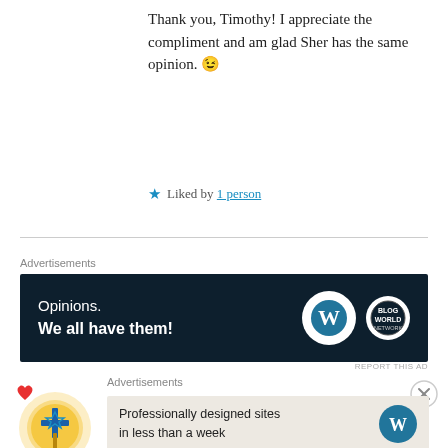Thank you, Timothy! I appreciate the compliment and am glad Sher has the same opinion. 😉
★ Liked by 1 person
Advertisements
[Figure (screenshot): Dark navy advertisement banner with white text: 'Opinions. We all have them!' with WordPress W logo circle and a secondary circular logo on the right.]
REPORT THIS AD
[Figure (illustration): Circular avatar icon with glowing gold cross and Star of David symbol, red heart badge in upper-left corner]
Dee Sealed In Christ
Advertisements
[Figure (screenshot): Light beige advertisement banner with text: 'Professionally designed sites in less than a week' and WordPress W logo on the right.]
REPORT THIS AD